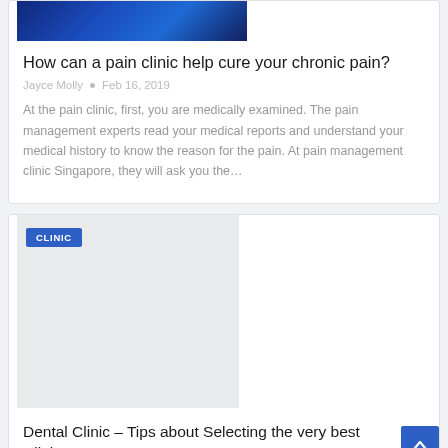[Figure (photo): Blue-toned X-ray or medical image of human spine/back, partially visible at top of page]
How can a pain clinic help cure your chronic pain?
Jayce Molly  •  Feb 16, 2019
At the pain clinic, first, you are medically examined. The pain management experts read your medical reports and understand your medical history to know the reason for the pain. At pain management clinic Singapore, they will ask you the…
[Figure (photo): Light grey placeholder image with a CLINIC badge overlay in blue]
Dental Clinic – Tips about Selecting the very best Clinic…